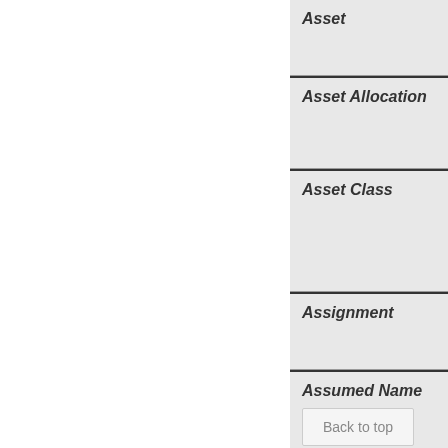Asset
Asset Allocation
Asset Class
Assignment
Assumed Name
Back to top
Authorized Shares or Stock
Automatic